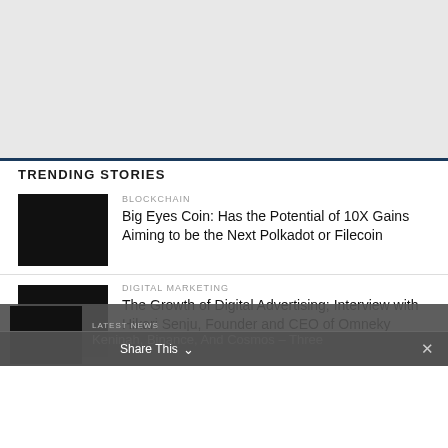[Figure (other): Advertisement placeholder / gray banner area at top of page]
TRENDING STORIES
BLOCKCHAIN
Big Eyes Coin: Has the Potential of 10X Gains Aiming to be the Next Polkadot or Filecoin
DIGITAL MARKETING
The Growth of Digital Advertising; Interview with Hikari Senju, Founder and CEO of Omneky
LATEST NEWS
Keninah, Binance, And Cosmos – Three
Share This